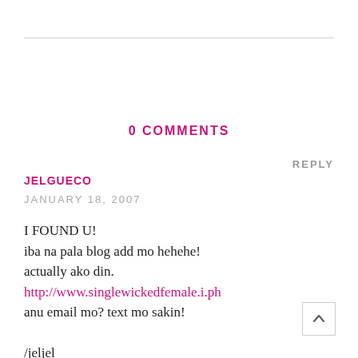0 COMMENTS
REPLY
JELGUECO
JANUARY 18, 2007
I FOUND U!
iba na pala blog add mo hehehe!
actually ako din.
http://www.singlewickedfemale.i.ph
anu email mo? text mo sakin!

/jeljel